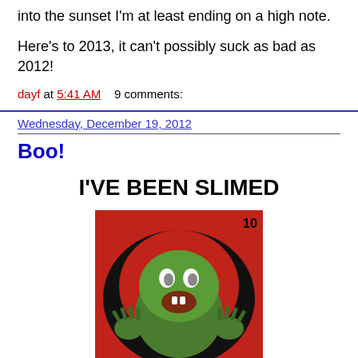into the sunset I'm at least ending on a high note.
Here's to 2013, it can't possibly suck as bad as 2012!
dayf at 5:41 AM    9 comments:
Wednesday, December 19, 2012
Boo!
I'VE BEEN SLIMED
[Figure (photo): Trading card image showing Slimer from Ghostbusters, a green ghost character with open mouth and raised hands, on a red background, numbered 10 in the top right corner.]